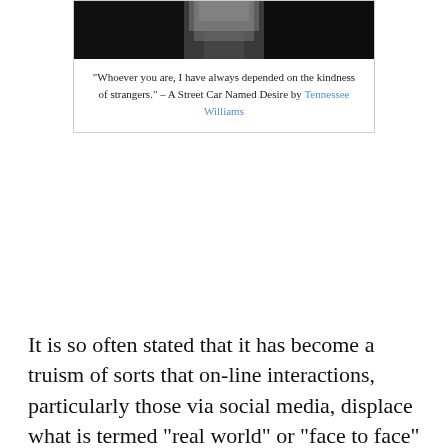[Figure (photo): Black and white photo of a person in formal attire (tuxedo), partially visible, with a quote caption below]
“Whoever you are, I have always depended on the kindness of strangers.” – A Street Car Named Desire by Tennessee Williams
It is so often stated that it has become a truism of sorts that on-line interactions, particularly those via social media, displace what is termed “real world” or “face to face” interactions. My view is that this perspective, rather than being self-evidently true, is actually apocryphal. I am sure that there are examples of people who have become more isolated (in a physical sense) through use of social media; those who are engaged in a zero-sum game where time spent on-line is at the expense of being around other